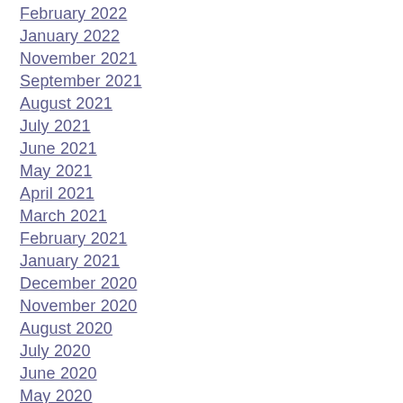February 2022
January 2022
November 2021
September 2021
August 2021
July 2021
June 2021
May 2021
April 2021
March 2021
February 2021
January 2021
December 2020
November 2020
August 2020
July 2020
June 2020
May 2020
March 2020